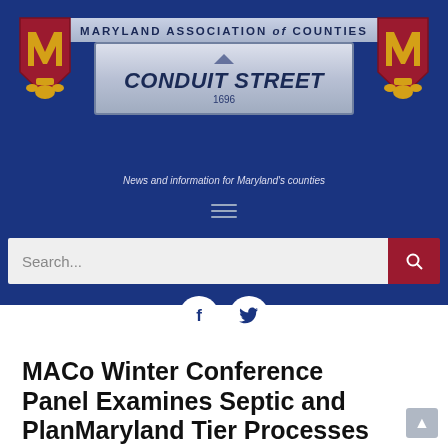[Figure (logo): Maryland Association of Counties - Conduit Street banner header with two MACo logos on left and right, street sign in center reading CONDUIT STREET 1696, and tagline 'News and information for Maryland's counties']
[Figure (screenshot): Hamburger menu icon (three horizontal lines) on dark blue background]
[Figure (screenshot): Search bar with placeholder text 'Search...' and a dark red search button on the right, and social media icons (Facebook, Twitter) below]
MACo Winter Conference Panel Examines Septic and PlanMaryland Tier Processes